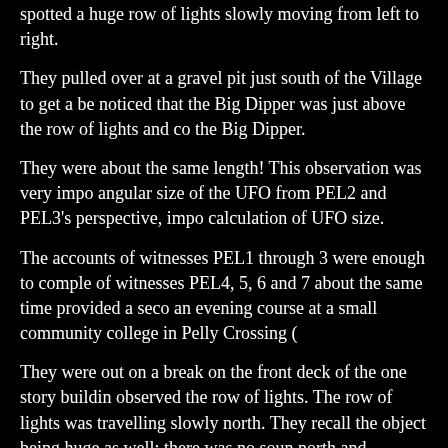spotted a huge row of lights slowly moving from left to right.
They pulled over at a gravel pit just south of the Village to get a be noticed that the Big Dipper was just above the row of lights and co the Big Dipper.
They were about the same length! This observation was very impo angular size of the UFO from PEL2 and PEL3’s perspective, impo calculation of UFO size.
The accounts of witnesses PEL1 through 3 were enough to comple of witnesses PEL4, 5, 6 and 7 about the same time provided a seco an evening course at a small community college in Pelly Crossing (
They were out on a break on the front deck of the one story buildin observed the row of lights. The row of lights was travelling slowly north. They recall the object being huge as well; there was no soun north and disappeared behind it.
Then there was the UFO sighting near the Village of Carmacks see two groups of people. CRM1, 2, 3 and 4 were on the highway nort Carmacks; CRM5, 6, 7, 8 and 9 consisted of a husband, wife and th
They were watching television when they spotted the row of lights
The four men traveling together pulled over near the landfill at the